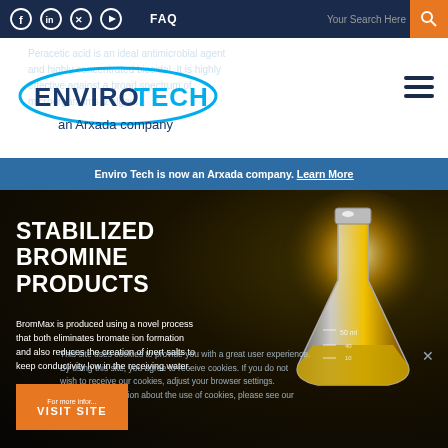FAQ  Your Search Here
[Figure (logo): EnviroTech an Arxada company logo with oval cyan outline]
Enviro Tech is now an Arxada company. Learn More
STABILIZED BROMINE PRODUCTS
[Figure (photo): Illuminated Erlenmeyer flask with yellow liquid against dark background]
BromMax is produced using a novel process that both eliminates bromate ion formation and also reduces the creation of inert salts to keep conductivity low in the receiving water.
For more information about the use of cookies, please see our Privacy Policy.
VISIT SITE